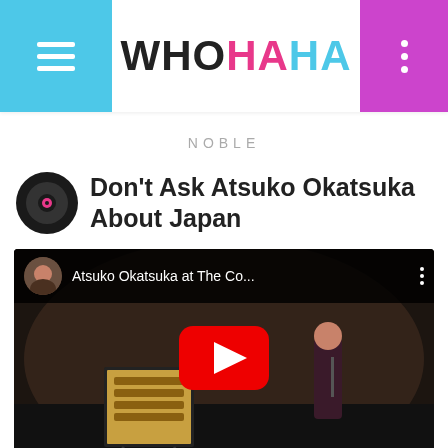WHOHAHA
NOBLE
Don't Ask Atsuko Okatsuka About Japan
[Figure (screenshot): YouTube video thumbnail showing Atsuko Okatsuka performing at The Comedy Festival. The video title reads 'Atsuko Okatsuka at The Co...' with a red YouTube play button overlay. A woman on stage with a microphone and a Comedy Festival sign are visible in the background.]